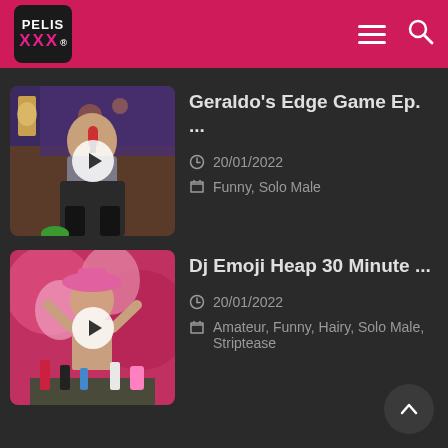PELIS XXX
[Figure (photo): Thumbnail of a man with a microphone in a colorful room, with play button overlay]
Geraldo’s Edge Game Ep. ...
20/01/2022
Funny, Solo Male
[Figure (photo): Thumbnail of a person in a pink hat in a pink room, with play button overlay]
Dj Emoji Heap 30 Minute ...
20/01/2022
Amateur, Funny, Hairy, Solo Male, Striptease